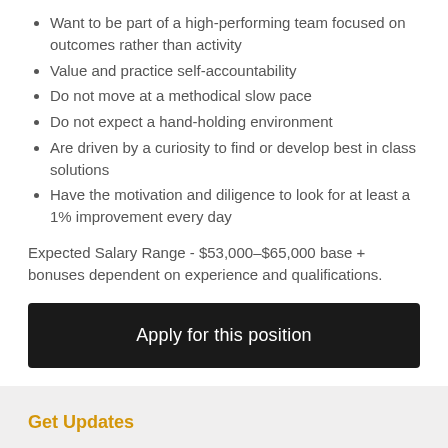Want to be part of a high-performing team focused on outcomes rather than activity
Value and practice self-accountability
Do not move at a methodical slow pace
Do not expect a hand-holding environment
Are driven by a curiosity to find or develop best in class solutions
Have the motivation and diligence to look for at least a 1% improvement every day
Expected Salary Range - $53,000–$65,000 base + bonuses dependent on experience and qualifications.
Apply for this position
Get Updates
Are you interested in hearing about new opportunities at Old Town Media in real time? Enter your email address to